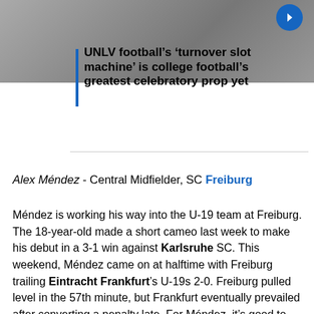[Figure (photo): Sports photo showing athletes, partially visible at top of page with a blue circular arrow button overlay]
UNLV football’s ‘turnover slot machine’ is college football’s greatest celebratory prop yet
Alex Méndez - Central Midfielder, SC Freiburg
Méndez is working his way into the U-19 team at Freiburg. The 18-year-old made a short cameo last week to make his debut in a 3-1 win against Karlsruhe SC. This weekend, Méndez came on at halftime with Freiburg trailing Eintracht Frankfurt’s U-19s 2-0. Freiburg pulled level in the 57th minute, but Frankfurt eventually prevailed after converting a penalty late. For Méndez, it’s good to see him taking the first steps on his potential journey to the Bundesliga. Let’s hope he